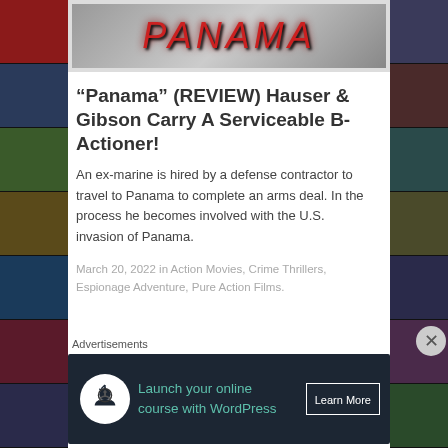[Figure (illustration): Left sidebar with movie poster thumbnails on dark background]
[Figure (photo): Top banner showing Panama movie title text in red italic font over a grey/blue background]
“Panama” (REVIEW) Hauser & Gibson Carry A Serviceable B-Actioner!
An ex-marine is hired by a defense contractor to travel to Panama to complete an arms deal. In the process he becomes involved with the U.S. invasion of Panama.
March 20, 2022 in Action Movies, Crime Thrillers, Espionage Adventure, Pure Action Films.
[Figure (screenshot): Partial review banner with REVIEW text in red italic and a circular rating badge in red]
[Figure (illustration): Right sidebar with movie poster thumbnails on dark background and close button]
Advertisements
[Figure (other): Dark advertisement banner: Launch your online course with WordPress, Learn More button, icon with person and upload arrow]